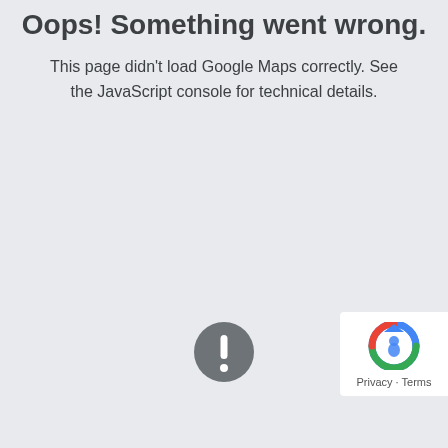Oops! Something went wrong.
This page didn't load Google Maps correctly. See the JavaScript console for technical details.
[Figure (illustration): Gray circular error icon with white exclamation mark]
[Figure (logo): Google reCAPTCHA logo with Privacy and Terms links]